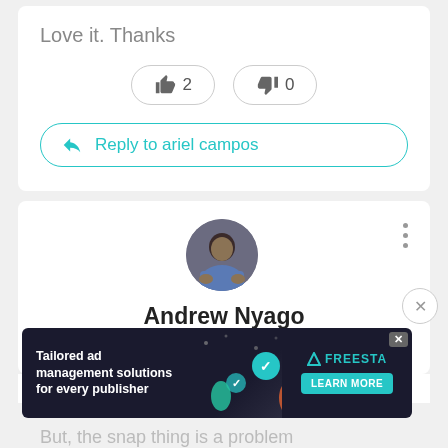Love it. Thanks
[Figure (screenshot): Like button with count 2 and dislike button with count 0]
Reply to ariel campos
[Figure (photo): Profile photo of Andrew Nyago - a man in a blue shirt]
Andrew Nyago
1 year ago
[Figure (screenshot): Advertisement banner: Tailored ad management solutions for every publisher - FREESTA LEARN MORE]
But, the snap thing is a problem